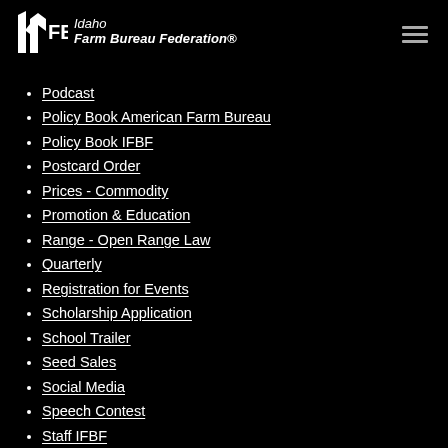Idaho Farm Bureau Federation
Podcast
Policy Book American Farm Bureau
Policy Book IFBF
Postcard Order
Prices - Commodity
Promotion & Education
Range - Open Range Law
Quarterly
Registration for Events
Scholarship Application
School Trailer
Seed Sales
Social Media
Speech Contest
Staff IFBF